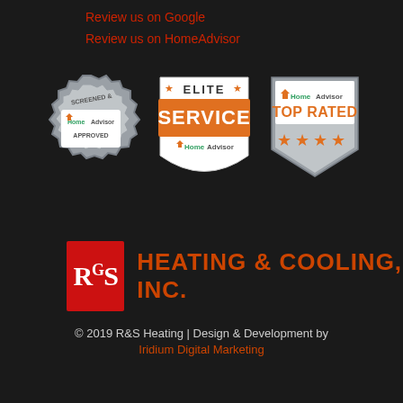Review us on Google
Review us on HomeAdvisor
[Figure (logo): Three HomeAdvisor badges: 1) Screened & Approved silver gear badge with HomeAdvisor logo, 2) Elite Service orange shield badge with HomeAdvisor logo, 3) HomeAdvisor Top Rated badge with 4 orange stars]
[Figure (logo): R&S Heating & Cooling, Inc. logo - red square box with R&S text followed by company name in orange/red]
© 2019 R&S Heating | Design & Development by Iridium Digital Marketing